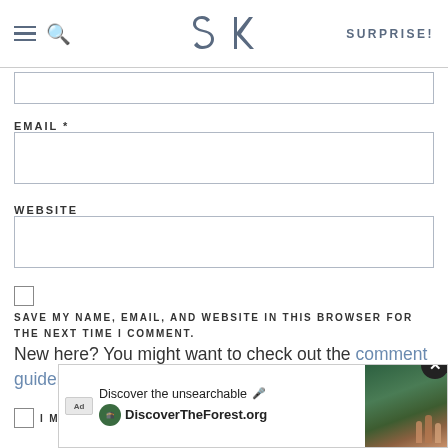SK — SURPRISE!
(partial input field — top of page)
EMAIL *
(email input field)
WEBSITE
(website input field)
SAVE MY NAME, EMAIL, AND WEBSITE IN THIS BROWSER FOR THE NEXT TIME I COMMENT.
New here? You might want to check out the comment guidelines before commenting.
[Figure (screenshot): Advertisement overlay: 'Discover the unsearchable / DiscoverTheForest.org' with forest photo and close button]